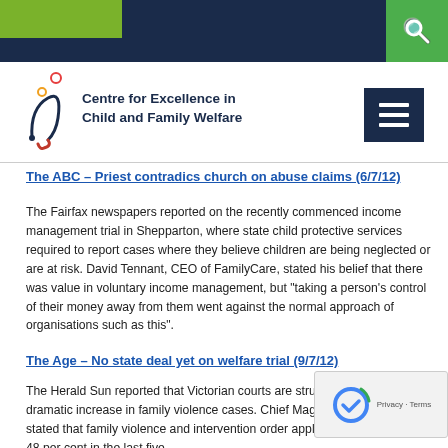Centre for Excellence in Child and Family Welfare
The ABC – Priest contradics church on abuse claims (6/7/12)
The Fairfax newspapers reported on the recently commenced income management trial in Shepparton, where state child protective services required to report cases where they believe children are being neglected or are at risk. David Tennant, CEO of FamilyCare, stated his belief that there was value in voluntary income management, but "taking a person's control of their money away from them went against the normal approach of organisations such as this".
The Age – No state deal yet on welfare trial (9/7/12)
The Herald Sun reported that Victorian courts are struggling to deal with a dramatic increase in family violence cases. Chief Magistrate Ian Gray stated that family violence and intervention order applications have risen by 48 per cent in the last five